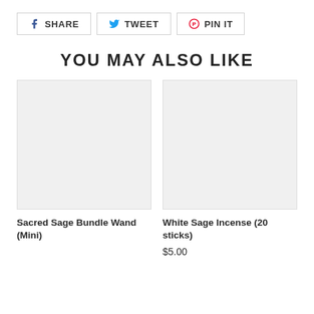[Figure (other): Social sharing buttons: Facebook SHARE, Twitter TWEET, Pinterest PIN IT]
YOU MAY ALSO LIKE
[Figure (photo): Product image placeholder for Sacred Sage Bundle Wand (Mini)]
Sacred Sage Bundle Wand (Mini)
[Figure (photo): Product image placeholder for White Sage Incense (20 sticks)]
White Sage Incense (20 sticks)
$5.00